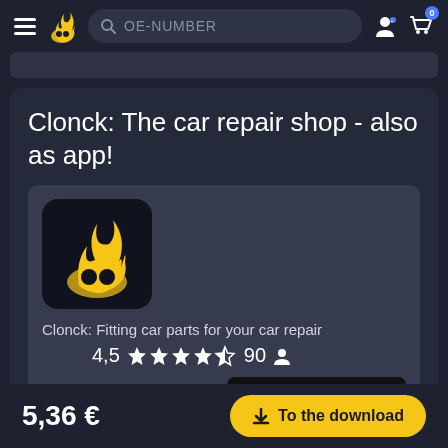[Figure (screenshot): Top navigation bar with hamburger menu, Clonck flame logo, OE-NUMBER search bar, user icon, and cart icon with badge 0]
Clonck: The car repair shop - also as app!
[Figure (screenshot): App card showing Clonck app icon (flame mascot on dark background), app name 'Clonck: Fitting car parts for your car repair', rating 4,5 stars with 90 reviews, and Get it on Google Play button]
5,36 €
To the download